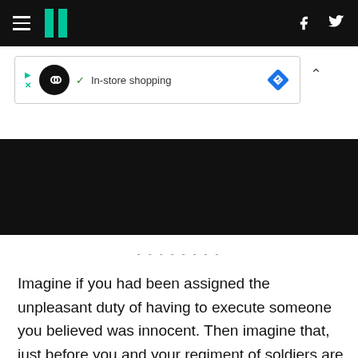HuffPost navigation header with hamburger menu, logo, Facebook and Twitter icons
[Figure (screenshot): Advertisement banner showing in-store shopping with play/pause controls, infinity loop icon, checkmark, and blue diamond navigation icon]
[Figure (photo): Black banner/image area below the advertisement]
--------
Imagine if you had been assigned the unpleasant duty of having to execute someone you believed was innocent. Then imagine that, just before you and your regiment of soldiers are about to shoot this condemned person, you confess your feelings to the prisoner that you don't want to carry out your task. He says to you: "Follow your instructions, and if your intention be sincere, the